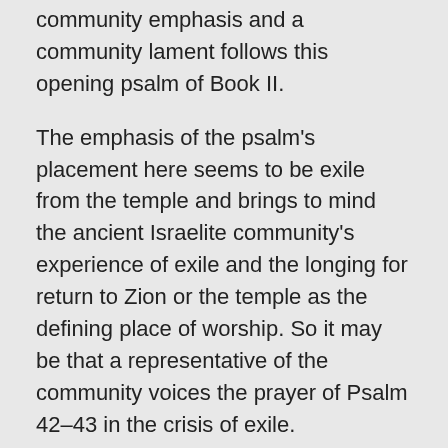community emphasis and a community lament follows this opening psalm of Book II.
The emphasis of the psalm's placement here seems to be exile from the temple and brings to mind the ancient Israelite community's experience of exile and the longing for return to Zion or the temple as the defining place of worship. So it may be that a representative of the community voices the prayer of Psalm 42–43 in the crisis of exile.
The text's opening stanza (Psalm 42:1-5) begins with the striking image of the deer thirsting for water when there is none. Just as water is necessary for life, so also is the divine presence. The speaker remembers powerful worship services of communion with God and yearns again for that life-giving reality. Tears rather than the nourishing divine